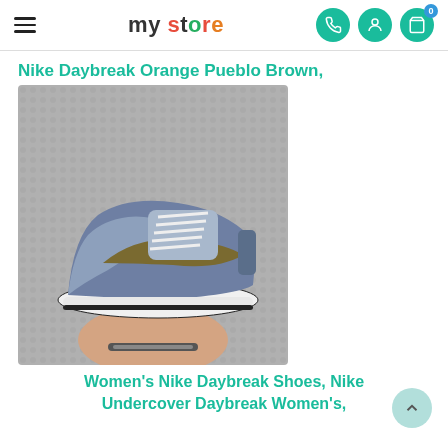my store — navigation header with hamburger menu, logo, phone icon, user icon, cart icon (0 items)
Nike Daybreak Orange Pueblo Brown,
[Figure (photo): A Nike Daybreak sneaker in blue/grey with a brown/olive swoosh and white sole, held up by a hand wearing a bracelet, against a grey textured background.]
Women's Nike Daybreak Shoes, Nike Undercover Daybreak Women's,